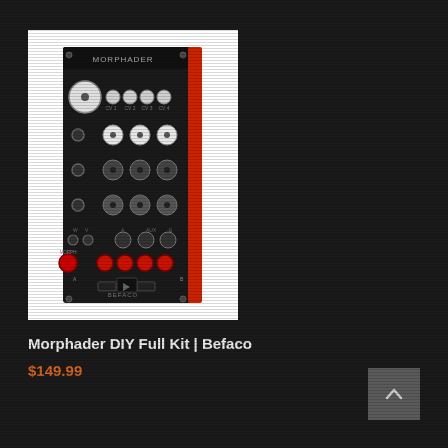[Figure (photo): Morphader DIY Full Kit by Befaco — a Eurorack synthesizer module with black panel, red side strip, multiple knobs and patch jacks, labeled MORPHADER and BEFACO at bottom]
Morphader DIY Full Kit | Befaco
$149.99